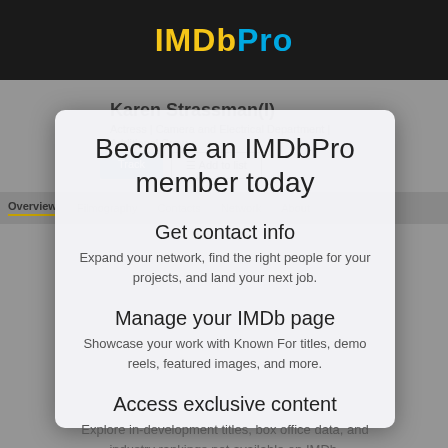[Figure (screenshot): IMDbPro website screenshot showing a modal dialog over a blurred actor profile page. The top bar shows the IMDbPro logo. Behind the modal is an actor profile page with name, role, navigation tabs, and buttons. The modal promotes becoming an IMDbPro member.]
Become an IMDbPro member today
Get contact info
Expand your network, find the right people for your projects, and land your next job.
Manage your IMDb page
Showcase your work with Known For titles, demo reels, featured images, and more.
Access exclusive content
Explore in-development titles, box office data, and industry rankings not available on IMDb.